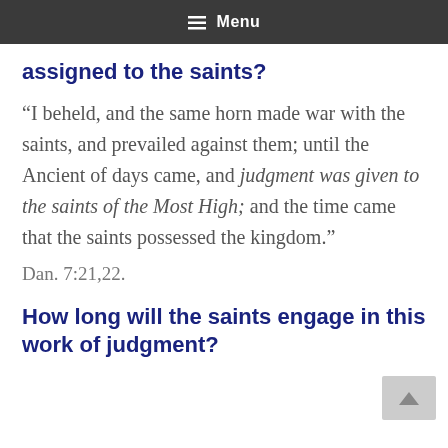Menu
assigned to the saints?
“I beheld, and the same horn made war with the saints, and prevailed against them; until the Ancient of days came, and judgment was given to the saints of the Most High; and the time came that the saints possessed the kingdom.” Dan. 7:21,22.
How long will the saints engage in this work of judgment?